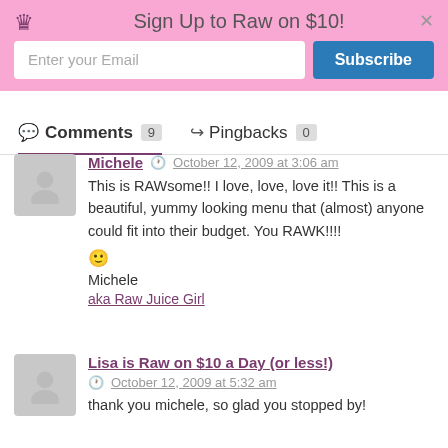Sign Up to Raw on $10!
Comments 9   Pingbacks 0
Michele — October 12, 2009 at 3:06 am
This is RAWsome!! I love, love, love it!! This is a beautiful, yummy looking menu that (almost) anyone could fit into their budget. You RAWK!!!!
😊
Michele
aka Raw Juice Girl
Lisa is Raw on $10 a Day (or less!) — October 12, 2009 at 5:32 am
thank you michele, so glad you stopped by!